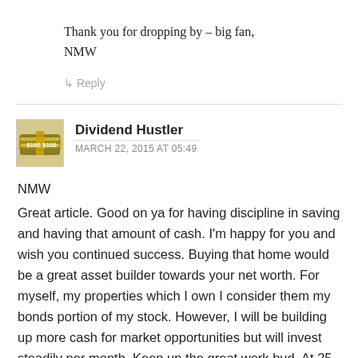Thank you for dropping by – big fan,
NMW
↳ Reply
[Figure (photo): Avatar image of Dividend Hustler showing bundled dollar bills]
Dividend Hustler
MARCH 22, 2015 AT 05:49
NMW
Great article. Good on ya for having discipline in saving and having that amount of cash. I'm happy for you and wish you continued success. Buying that home would be a great asset builder towards your net worth. For myself, my properties which I own I consider them my bonds portion of my stock. However, I will be building up more cash for market opportunities but will invest steadily per month. Keep up the great work bud. At 25 years old, I commend you